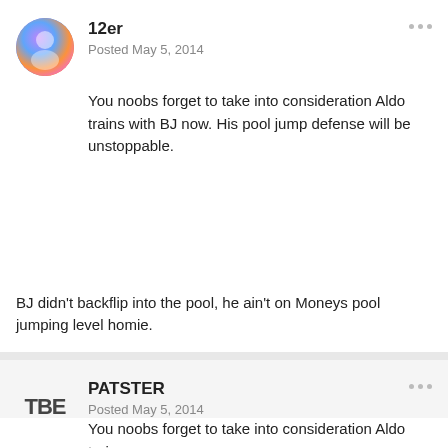12er
Posted May 5, 2014
You noobs forget to take into consideration Aldo trains with BJ now. His pool jump defense will be unstoppable.
BJ didn't backflip into the pool, he ain't on Moneys pool jumping level homie.
PATSTER
Posted May 5, 2014
You noobs forget to take into consideration Aldo trains